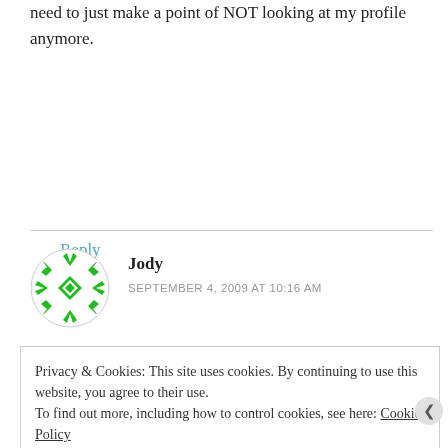need to just make a point of NOT looking at my profile anymore.
Reply
[Figure (illustration): Green geometric snowflake/diamond avatar icon for commenter Jody]
Jody
SEPTEMBER 4, 2009 AT 10:16 AM
Privacy & Cookies: This site uses cookies. By continuing to use this website, you agree to their use.
To find out more, including how to control cookies, see here: Cookie Policy
Close and accept